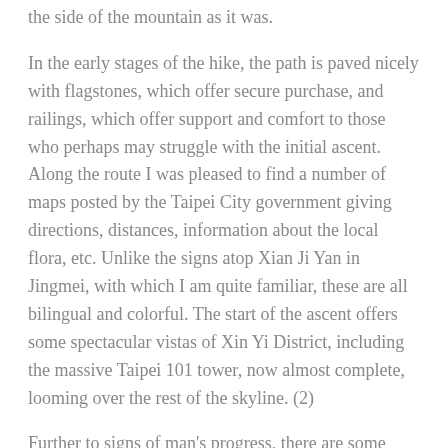the side of the mountain as it was.
In the early stages of the hike, the path is paved nicely with flagstones, which offer secure purchase, and railings, which offer support and comfort to those who perhaps may struggle with the initial ascent. Along the route I was pleased to find a number of maps posted by the Taipei City government giving directions, distances, information about the local flora, etc. Unlike the signs atop Xian Ji Yan in Jingmei, with which I am quite familiar, these are all bilingual and colorful. The start of the ascent offers some spectacular vistas of Xin Yi District, including the massive Taipei 101 tower, now almost complete, looming over the rest of the skyline. (2)
Further to signs of man's progress, there are some tunnels currently being bored into the mountain that I believe will eventually be part of the freeway linking Ilan and the east coast